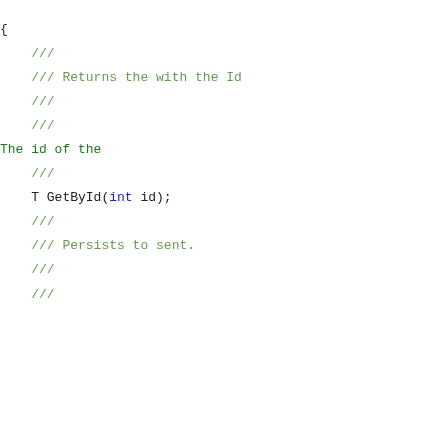{
///
/// Returns the with the Id
///
///
The id of the
///
T GetById(int id);
///
/// Persists to sent.
///
///